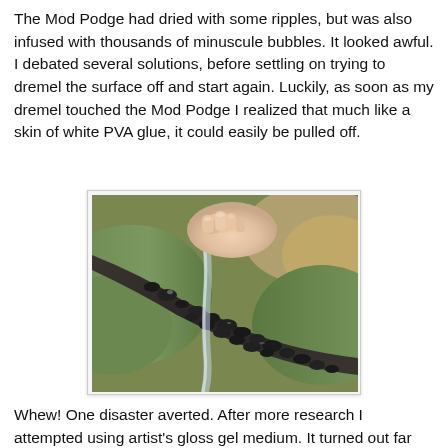The Mod Podge had dried with some ripples, but was also infused with thousands of minuscule bubbles. It looked awful. I debated several solutions, before settling on trying to dremel the surface off and start again. Luckily, as soon as my dremel touched the Mod Podge I realized that much like a skin of white PVA glue, it could easily be pulled off.
[Figure (photo): A hand peeling off a dried Mod Podge layer from a miniature terrain diorama featuring a stream with dark stones, green grass/moss areas, and sandy/earthy ground.]
Whew! One disaster averted. After more research I attempted using artist's gloss gel medium. It turned out far better than the Mod Podge, but ultimately didn't result in a finished piece that matched what I had in mind.